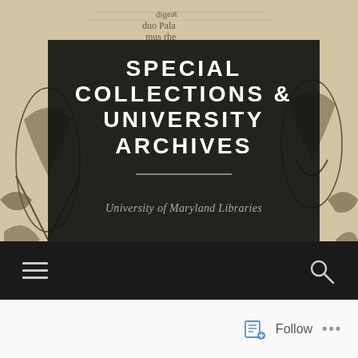[Figure (illustration): Antique woodcut/engraving illustration on aged parchment background, showing decorative medieval-style figures and flourishes with text 'digeat duo Pala mus rhe' visible at top]
SPECIAL COLLECTIONS & UNIVERSITY ARCHIVES
University of Maryland Libraries
[Figure (other): Dark navigation bar with hamburger menu icon on left and search (magnifying glass) icon on right]
[Figure (other): White follow bar at bottom with Follow button icon and ellipsis menu]